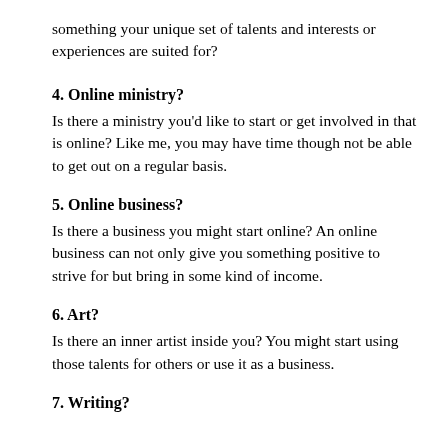something your unique set of talents and interests or experiences are suited for?
4. Online ministry?
Is there a ministry you'd like to start or get involved in that is online? Like me, you may have time though not be able to get out on a regular basis.
5. Online business?
Is there a business you might start online? An online business can not only give you something positive to strive for but bring in some kind of income.
6. Art?
Is there an inner artist inside you? You might start using those talents for others or use it as a business.
7. Writing?